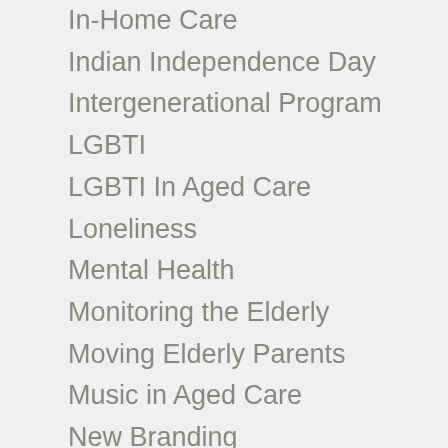In-Home Care
Indian Independence Day
Intergenerational Program
LGBTI
LGBTI In Aged Care
Loneliness
Mental Health
Monitoring the Elderly
Moving Elderly Parents
Music in Aged Care
New Branding
News in Aged Care
Nutrition in Aged Care
Pallative Care
Parkinson Disease
Personal Care
Pets in Aged Care
Rehabilitation Services